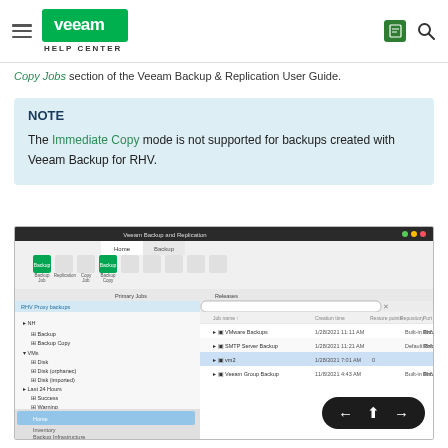Veeam Help Center
Copy Jobs section of the Veeam Backup & Replication User Guide.
NOTE
The Immediate Copy mode is not supported for backups created with Veeam Backup for RHV.
[Figure (screenshot): Screenshot of Veeam Backup and Replication application showing the Home tab with backup jobs listed including VMware Backups, SMTP Server Backup, vm2, and Veeam Group Backup entries, with columns for Job name, Creation time, Restore points, Repository, and Port Sec. Navigation arrows overlay at bottom right.]